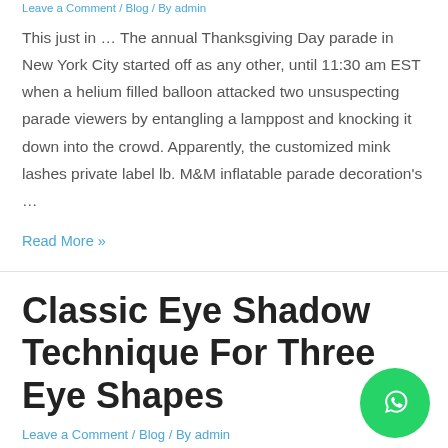Leave a Comment / Blog / By admin
This just in … The annual Thanksgiving Day parade in New York City started off as any other, until 11:30 am EST when a helium filled balloon attacked two unsuspecting parade viewers by entangling a lamppost and knocking it down into the crowd. Apparently, the customized mink lashes private label lb. M&M inflatable parade decoration's …
Read More »
Classic Eye Shadow Technique For Three Eye Shapes
Leave a Comment / Blog / By admin
It's easy to fall into an eye-makeup rut, brushing on the same